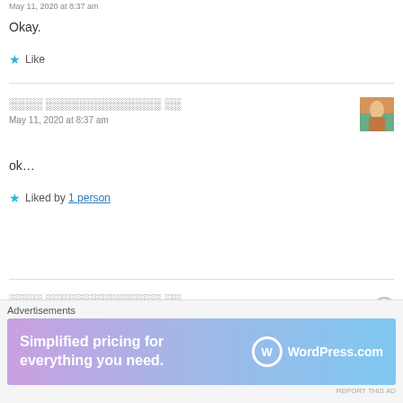May 11, 2020 at 8:37 am
Okay.
★ Like
░░░░ ░░░░░░░░░░░░░░ ░░
May 11, 2020 at 8:37 am
ok…
★ Liked by 1 person
░░░░ ░░░░░░░░░░░░░░ ░░
Advertisements
Simplified pricing for everything you need. WordPress.com